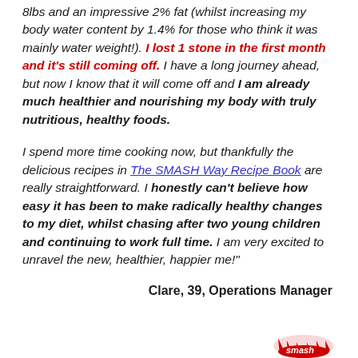8lbs and an impressive 2% fat (whilst increasing my body water content by 1.4% for those who think it was mainly water weight!). I lost 1 stone in the first month and it's still coming off. I have a long journey ahead, but now I know that it will come off and I am already much healthier and nourishing my body with truly nutritious, healthy foods.
I spend more time cooking now, but thankfully the delicious recipes in The SMASH Way Recipe Book are really straightforward. I honestly can't believe how easy it has been to make radically healthy changes to my diet, whilst chasing after two young children and continuing to work full time. I am very excited to unravel the new, healthier, happier me!"
Clare, 39, Operations Manager
[Figure (logo): Smash logo in red at bottom right corner, partially visible]